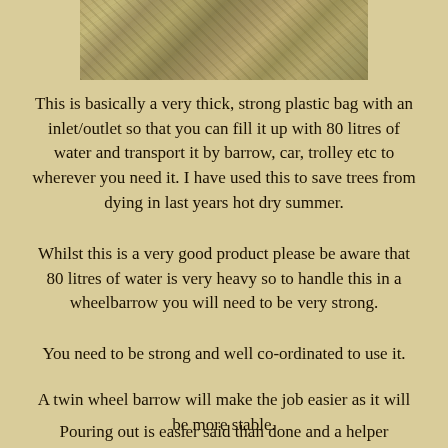[Figure (photo): Photo of dry grass or straw-like ground cover, brownish-green texture]
This is basically a very thick, strong plastic bag with an inlet/outlet so that you can fill it up with 80 litres of water and transport it by barrow, car, trolley etc to wherever you need it. I have used this to save trees from dying in last years hot dry summer.
Whilst this is a very good product please be aware that 80 litres of water is very heavy so to handle this in a wheelbarrow you will need to be very strong.
You need to be strong and well co-ordinated to use it.
A twin wheel barrow will make the job easier as it will be more stable.
Pouring out is easier said than done and a helper